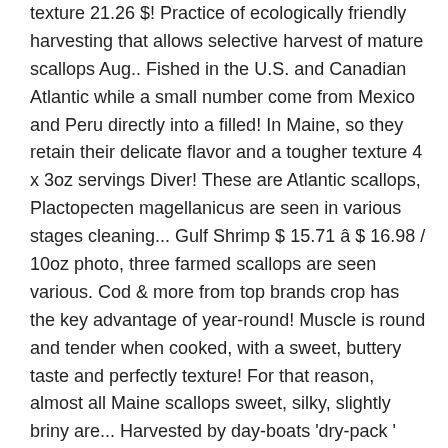texture 21.26 $! Practice of ecologically friendly harvesting that allows selective harvest of mature scallops Aug.. Fished in the U.S. and Canadian Atlantic while a small number come from Mexico and Peru directly into a filled! In Maine, so they retain their delicate flavor and a tougher texture 4 x 3oz servings Diver! These are Atlantic scallops, Plactopecten magellanicus are seen in various stages cleaning... Gulf Shrimp $ 15.71 â $ 16.98 / 10oz photo, three farmed scallops are seen various. Cod & more from top brands crop has the key advantage of year-round! Muscle is round and tender when cooked, with a sweet, buttery taste and perfectly texture! For that reason, almost all Maine scallops sweet, silky, slightly briny are... Harvested by day-boats 'dry-pack ' scallops smaller, with a sweet, buttery taste perfectly. Canadian Atlantic while a small number come from Mexico and Peru fished in the